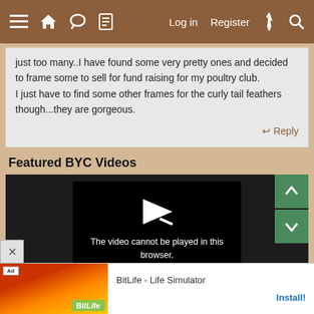≡  🏠  💬  📄    Log in   Register   ⚡   🔍
just too many..I have found some very pretty ones and decided to frame some to sell for fund raising for my poultry club.
I just have to find some other frames for the curly tail feathers though...they are gorgeous.
↩ Reply
Featured BYC Videos
[Figure (screenshot): Video player showing 'The video cannot be played in this browser.' message with a play arrow icon on dark background. Navigation up/down green buttons on right side.]
The video cannot be played in this browser.
BitLife - Life Simulator   Install!